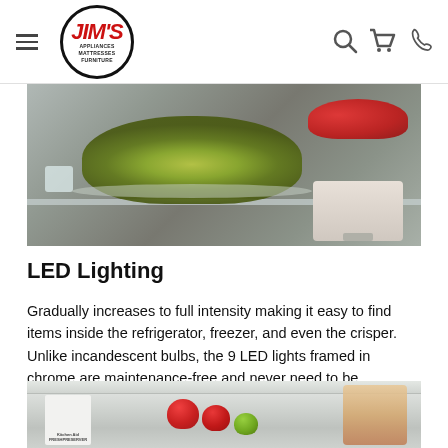Jim's Appliances Mattresses Furniture — navigation header with logo, hamburger menu, search, cart, and phone icons
[Figure (photo): Close-up interior view of a refrigerator showing glass shelves with food dishes including a bowl of salad/casserole and a cake on a stand, illuminated by LED lighting]
LED Lighting
Gradually increases to full intensity making it easy to find items inside the refrigerator, freezer, and even the crisper. Unlike incandescent bulbs, the 9 LED lights framed in chrome are maintenance-free and never need to be replaced.
[Figure (photo): Close-up interior view of a refrigerator crisper drawer showing red and green apples, a KitchenAid FreshPreserver box, and a dessert item on the right side]